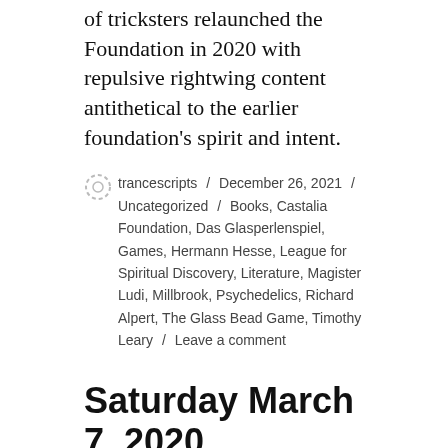of tricksters relaunched the Foundation in 2020 with repulsive rightwing content antithetical to the earlier foundation's spirit and intent.
trancescripts / December 26, 2021 / Uncategorized / Books, Castalia Foundation, Das Glasperlenspiel, Games, Hermann Hesse, League for Spiritual Discovery, Literature, Magister Ludi, Millbrook, Psychedelics, Richard Alpert, The Glass Bead Game, Timothy Leary / Leave a comment
Saturday March 7, 2020
A neighbor broadcasts at a faint volume a punk song while birds sing in the trees. I sit at an old weather-worn picnic table, out of the center of